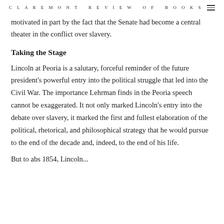CLAREMONT REVIEW OF BOOKS
motivated in part by the fact that the Senate had become a central theater in the conflict over slavery.
Taking the Stage
Lincoln at Peoria is a salutary, forceful reminder of the future president's powerful entry into the political struggle that led into the Civil War. The importance Lehrman finds in the Peoria speech cannot be exaggerated. It not only marked Lincoln's entry into the debate over slavery, it marked the first and fullest elaboration of the political, rhetorical, and philosophical strategy that he would pursue to the end of the decade and, indeed, to the end of his life.
But to abs 1854, Lincoln...